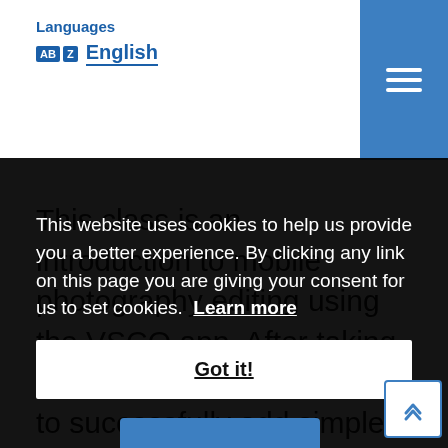Languages
AB English
This class is an introduction to mobile photography editing using the VSCO app. After taking this class you will be able to successfully add simple edits that will bring
This website uses cookies to help us provide you a better experience. By clicking any link on this page you are giving your consent for us to set cookies. Learn more
Got it!